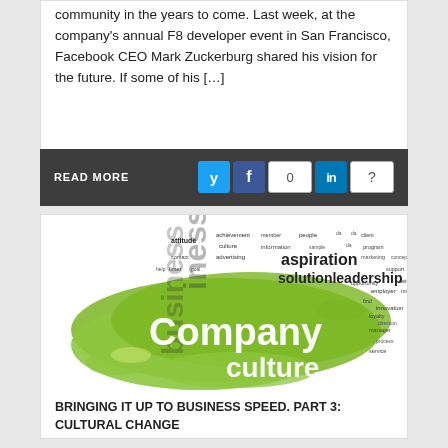community in the years to come. Last week, at the company's annual F8 developer event in San Francisco, Facebook CEO Mark Zuckerburg shared his vision for the future. If some of his [...]
READ MORE
[Figure (illustration): Word cloud image with 'Company culture' prominently displayed in green, surrounded by business-related terms like aspiration, leadership, solution, attitude, business, etc.]
BRINGING IT UP TO BUSINESS SPEED. PART 3: CULTURAL CHANGE